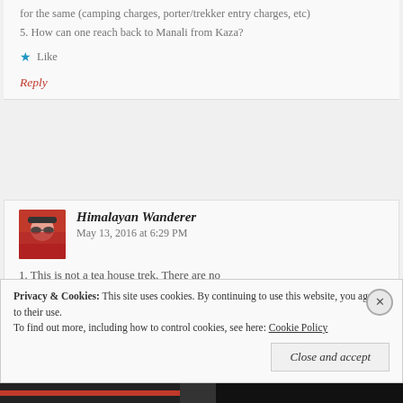for the same (camping charges, porter/trekker entry charges, etc)
5. How can one reach back to Manali from Kaza?
Like
Reply
Himalayan Wanderer   May 13, 2016 at 6:29 PM
1. This is not a tea house trek. There are no
Privacy & Cookies: This site uses cookies. By continuing to use this website, you agree to their use. To find out more, including how to control cookies, see here: Cookie Policy
Close and accept